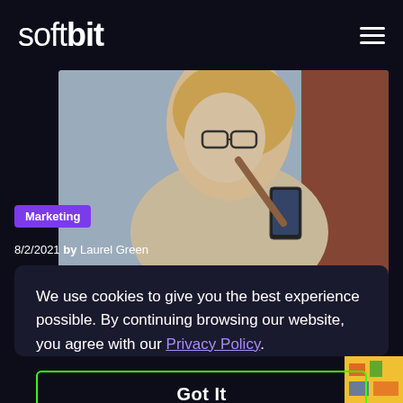softbit
[Figure (photo): Woman with glasses looking at her phone, standing outdoors near a brick wall]
Marketing
8/2/2021 by Laurel Green
We use cookies to give you the best experience possible. By continuing browsing our website, you agree with our Privacy Policy.
Got It